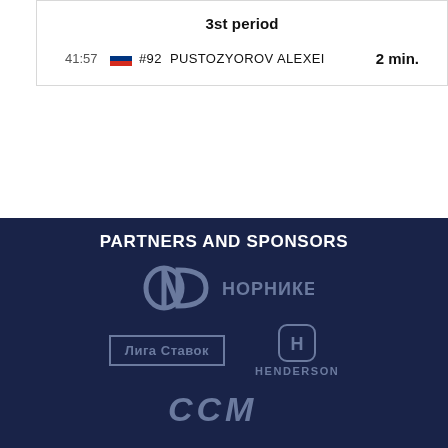3st period
41:57  #92  PUSTOZYOROV ALEXEI  2 min.
PARTNERS AND SPONSORS
[Figure (logo): Nornickel (Норникель) logo in grey on dark navy background]
[Figure (logo): Лига Ставок logo in grey box outline on dark navy background]
[Figure (logo): Henderson logo with H icon in circle on dark navy background]
[Figure (logo): CCM logo in italic grey letters on dark navy background, partially visible]